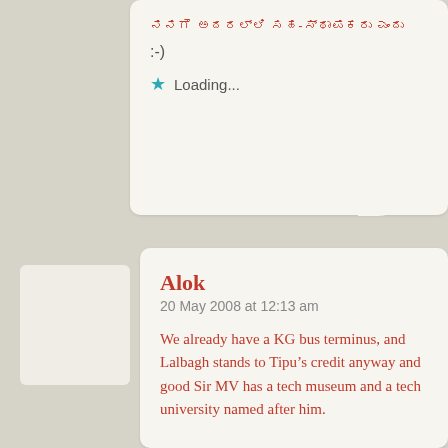ನನಗೆ ಅದರಲ್ಲಿ ಸಹ-ಸ್ಥಾಪಕರು ಎಂದು
:-)
Loading...
Alok
20 May 2008 at 12:13 am
We already have a KG bus terminus, and Lalbagh stands to Tipu’s credit anyway and good Sir MV has a tech museum and a tech university named after him.